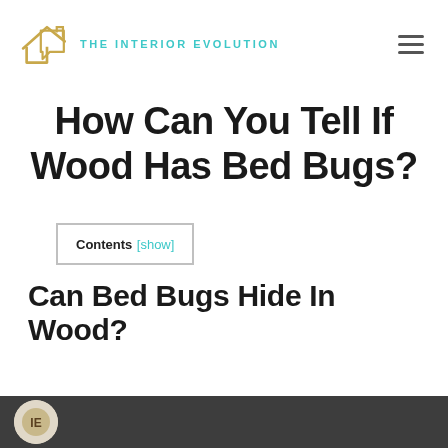THE INTERIOR EVOLUTION
How Can You Tell If Wood Has Bed Bugs?
Contents [show]
Can Bed Bugs Hide In Wood?
[Figure (photo): Bottom strip showing the beginning of an article image with a dark background and a circular logo/icon at the left edge]